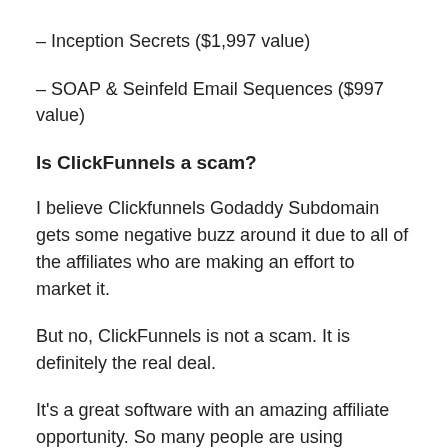– Inception Secrets ($1,997 value)
– SOAP & Seinfeld Email Sequences ($997 value)
Is ClickFunnels a scam?
I believe Clickfunnels Godaddy Subdomain gets some negative buzz around it due to all of the affiliates who are making an effort to market it.
But no, ClickFunnels is not a scam. It is definitely the real deal.
It's a great software with an amazing affiliate opportunity. So many people are using